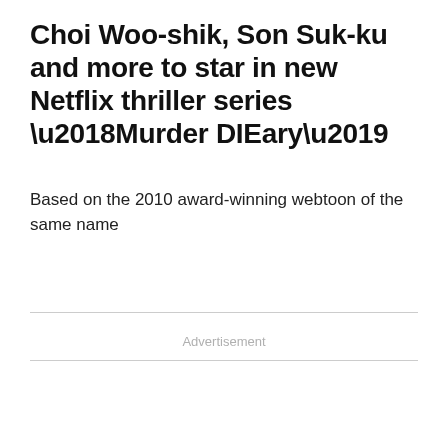Choi Woo-shik, Son Suk-ku and more to star in new Netflix thriller series ‘Murder DIEary’
Based on the 2010 award-winning webtoon of the same name
Advertisement